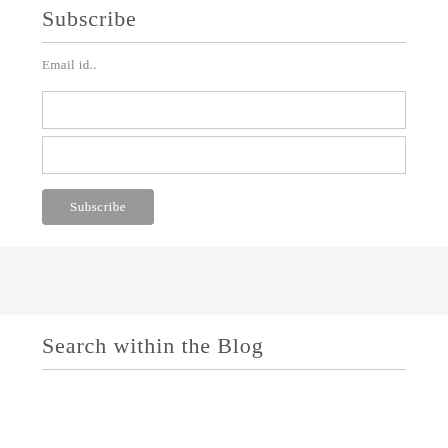Subscribe
Email id..
[Figure (screenshot): Two empty text input boxes for email subscription form]
Subscribe
Search within the Blog